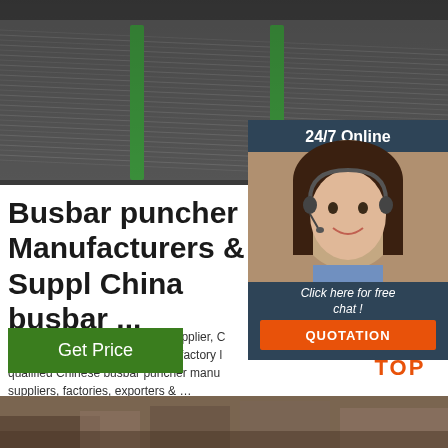[Figure (photo): Bundle of metal wires/rods tied with green straps, industrial product photo]
[Figure (photo): 24/7 Online customer service agent - woman with headset smiling, with 'Click here for free chat!' text and QUOTATION button]
Busbar puncher Manufacturers & Suppl China busbar ...
busbar puncher manufacturer/supplier, C busbar puncher manufacturer & factory l qualified Chinese busbar puncher manu suppliers, factories, exporters & …
[Figure (logo): TOP logo with orange dots arranged in triangle above the word TOP in orange]
[Figure (photo): Bottom strip industrial/manufacturing photo]
Get Price